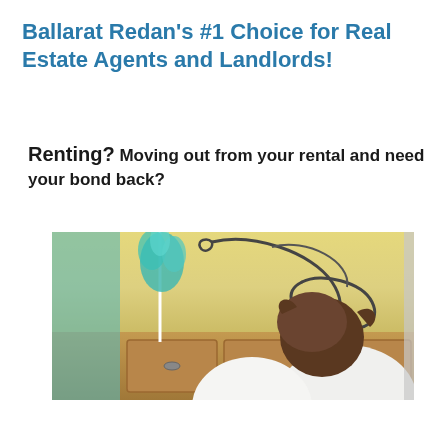Ballarat Redan's #1 Choice for Real Estate Agents and Landlords!
Renting? Moving out from your rental and need your bond back?
[Figure (photo): A person seen from behind cleaning a kitchen with a feather duster, decorative ironwork scrolls visible on the wall, wooden cabinet below, yellow/cream wall background.]